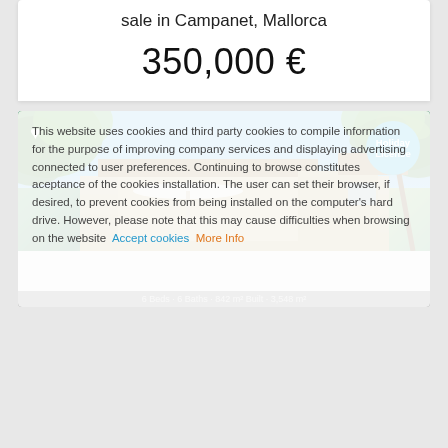sale in Campanet, Mallorca
350,000 €
[Figure (photo): Exterior photo of a Mallorcan property with garden, trees, pergola with umbrella, stone building, and blue sky. Has a Holiday License badge and heart/favorite icon.]
This website uses cookies and third party cookies to compile information for the purpose of improving company services and displaying advertising connected to user preferences. Continuing to browse constitutes aceptance of the cookies installation. The user can set their browser, if desired, to prevent cookies from being installed on the computer's hard drive. However, please note that this may cause difficulties when browsing on the website  Accept cookies  More Info
6 Beds · 6 Baths · 842 m² Built · 3,548 m²